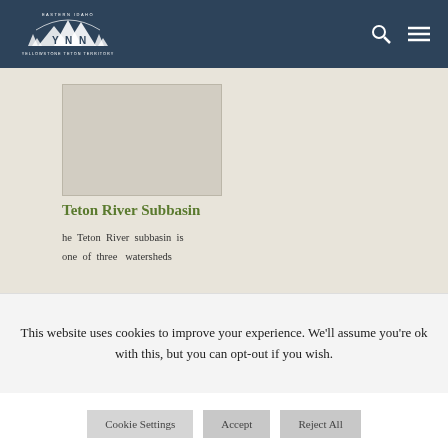[Figure (logo): Yellowstone Teton Territory logo with mountain silhouette and trees, white on dark blue background, text reads EASTERN IDAHO YELLOWSTONE TETON TERRITORY]
[Figure (photo): A landscape or scenic photo thumbnail shown as a light beige/grey placeholder rectangle]
Teton River Subbasin
he Teton River subbasin is one of three watersheds
This website uses cookies to improve your experience. We'll assume you're ok with this, but you can opt-out if you wish.
Cookie Settings
Accept
Reject All